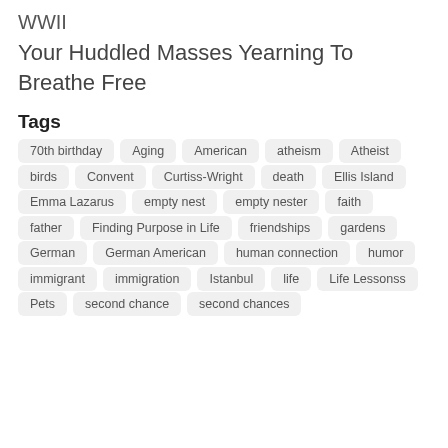WWII
Your Huddled Masses Yearning To Breathe Free
Tags
70th birthday
Aging
American
atheism
Atheist
birds
Convent
Curtiss-Wright
death
Ellis Island
Emma Lazarus
empty nest
empty nester
faith
father
Finding Purpose in Life
friendships
gardens
German
German American
human connection
humor
immigrant
immigration
Istanbul
life
Life Lessonss
Pets
second chance
second chances